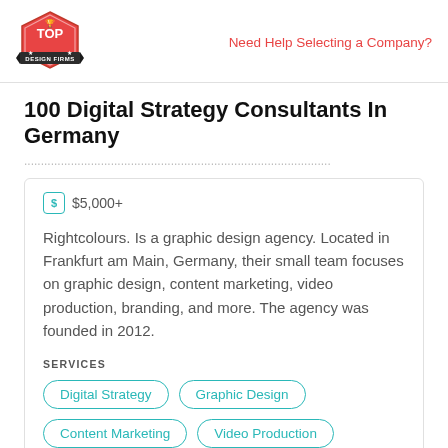Top Design Firms | Need Help Selecting a Company?
100 Digital Strategy Consultants In Germany
$5,000+
Rightcolours. Is a graphic design agency. Located in Frankfurt am Main, Germany, their small team focuses on graphic design, content marketing, video production, branding, and more. The agency was founded in 2012.
SERVICES
Digital Strategy
Graphic Design
Content Marketing
Video Production
Branding